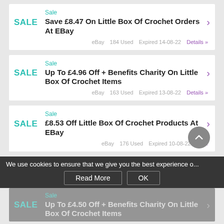Sale — Save £8.47 On Little Box Of Crochet Orders At EBay — eBay 184 Used Expired 14-08-22 Details »
Sale — Up To £4.96 Off + Benefits Charity On Little Box Of Crochet Items — eBay 163 Used Expired 13-08-22 Details »
Sale — £8.53 Off Little Box Of Crochet Products At EBay — eBay 176 Used Expired 10-08-22 Details »
We use cookies to ensure that we give you the best experience o...
Sale — Up To £4.50 Off + Benefits Charity On Little Box Of Crochet Items